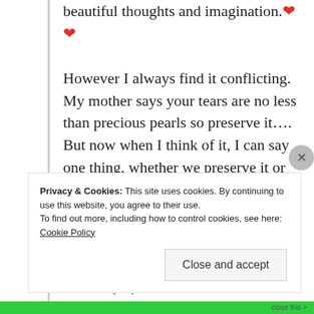beautiful thoughts and imagination. ❤❤ However I always find it conflicting. My mother says your tears are no less than precious pearls so preserve it…. But now when I think of it, I can say one thing, whether we preserve it or not, but at the end if we can come up stronger then it is worth investing….
★ Liked by 1 person
Log in to Reply
Privacy & Cookies: This site uses cookies. By continuing to use this website, you agree to their use. To find out more, including how to control cookies, see here: Cookie Policy
Close and accept